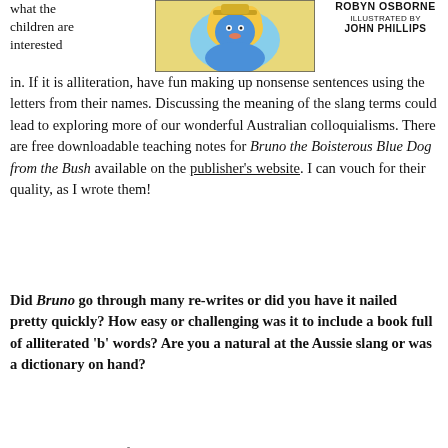what the children are interested
[Figure (illustration): Illustrated book cover showing a blue dog character with yellow and other colors, cartoon style]
ROBYN OSBORNE
ILLUSTRATED BY
JOHN PHILLIPS
in. If it is alliteration, have fun making up nonsense sentences using the letters from their names. Discussing the meaning of the slang terms could lead to exploring more of our wonderful Australian colloquialisms. There are free downloadable teaching notes for Bruno the Boisterous Blue Dog from the Bush available on the publisher’s website. I can vouch for their quality, as I wrote them!
Did Bruno go through many re-writes or did you have it nailed pretty quickly? How easy or challenging was it to include a book full of alliterated ‘b’ words? Are you a natural at the Aussie slang or was a dictionary on hand?
Combining a love of alliteration with an easi...